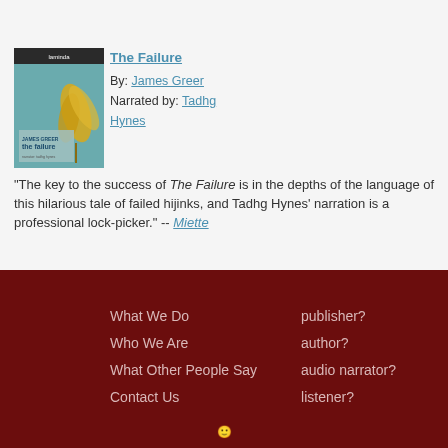[Figure (illustration): Book cover for 'The Failure' by James Greer, showing a yellow iris flower on a teal/blue background with a small publisher logo at top]
The Failure
By: James Greer
Narrated by: Tadhg Hynes
"The key to the success of The Failure is in the depths of the language of this hilarious tale of failed hijinks, and Tadhg Hynes' narration is a professional lock-picker." -- Miette
What We Do
Who We Are
What Other People Say
Contact Us
publisher?
author?
audio narrator?
listener?